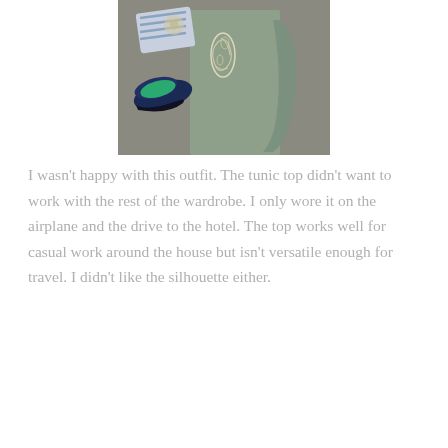[Figure (photo): Flat lay photo of a green/olive tunic top with white lace embroidery detail, navy blue slip-on shoes with green insoles, and a striped fabric, all laid on a grey surface.]
I wasn't happy with this outfit. The tunic top didn't want to work with the rest of the wardrobe. I only wore it on the airplane and the drive to the hotel. The top works well for casual work around the house but isn't versatile enough for travel. I didn't like the silhouette either.